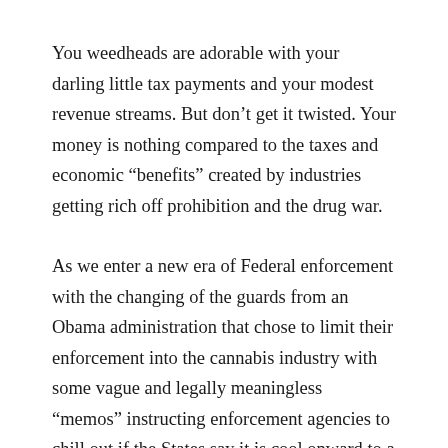You weedheads are adorable with your darling little tax payments and your modest revenue streams. But don't get it twisted. Your money is nothing compared to the taxes and economic “benefits” created by industries getting rich off prohibition and the drug war.
As we enter a new era of Federal enforcement with the changing of the guards from an Obama administration that chose to limit their enforcement into the cannabis industry with some vague and legally meaningless “memos” instructing enforcement agencies to chill out if the States say it is cool onward to a Trump administration where all bets are off and conservatives are chomping at the bit to return us all to the golden era of the Reagan “revolution” and Nixon’s “war on drugs.” It is anyone’s guess what will